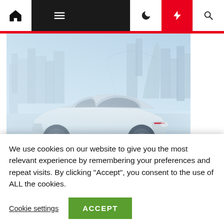Navigation bar with home, menu, moon, bolt, search icons
[Figure (photo): White futuristic electric car driving at speed with motion blur on a city road with modern skyscrapers in the background. Light blue and white tones with motion blur effect.]
You May Like
We use cookies on our website to give you the most relevant experience by remembering your preferences and repeat visits. By clicking "Accept", you consent to the use of ALL the cookies.
Cookie settings  ACCEPT